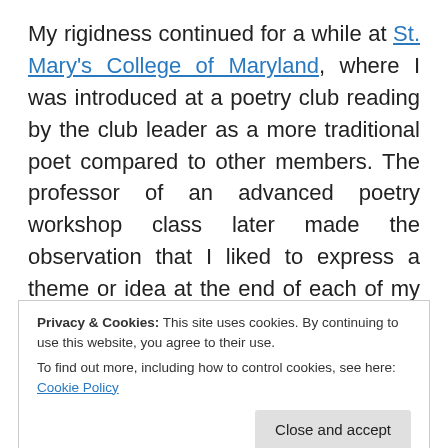My rigidness continued for a while at St. Mary's College of Maryland, where I was introduced at a poetry club reading by the club leader as a more traditional poet compared to other members. The professor of an advanced poetry workshop class later made the observation that I liked to express a theme or idea at the end of each of my poems. However, it was through both that class and another poetry class at St. Mary's that I began to break free and experiment with poetry.
I discovered new different forms that I had to write in, so as to
Privacy & Cookies: This site uses cookies. By continuing to use this website, you agree to their use. To find out more, including how to control cookies, see here: Cookie Policy
phrases, more so perhaps than fiction. I continued to